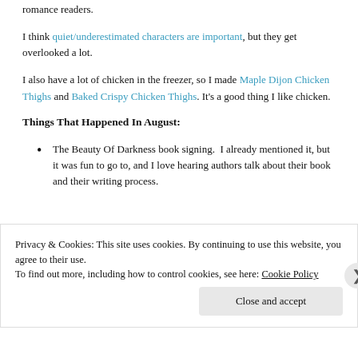romance readers.
I think quiet/underestimated characters are important, but they get overlooked a lot.
I also have a lot of chicken in the freezer, so I made Maple Dijon Chicken Thighs and Baked Crispy Chicken Thighs. It's a good thing I like chicken.
Things That Happened In August:
The Beauty Of Darkness book signing.  I already mentioned it, but it was fun to go to, and I love hearing authors talk about their book and their writing process.
Privacy & Cookies: This site uses cookies. By continuing to use this website, you agree to their use.
To find out more, including how to control cookies, see here: Cookie Policy